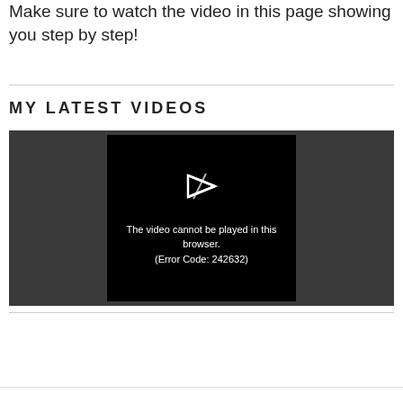Make sure to watch the video in this page showing you step by step!
MY LATEST VIDEOS
[Figure (screenshot): Video player showing an error message: 'The video cannot be played in this browser. (Error Code: 242632)' with a play icon on a black background inside a dark gray video container.]